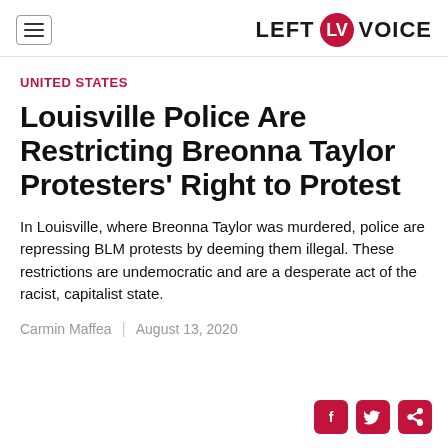LEFT VOICE
UNITED STATES
Louisville Police Are Restricting Breonna Taylor Protesters' Right to Protest
In Louisville, where Breonna Taylor was murdered, police are repressing BLM protests by deeming them illegal. These restrictions are undemocratic and are a desperate act of the racist, capitalist state.
Carmin Maffea  |  August 13, 2020